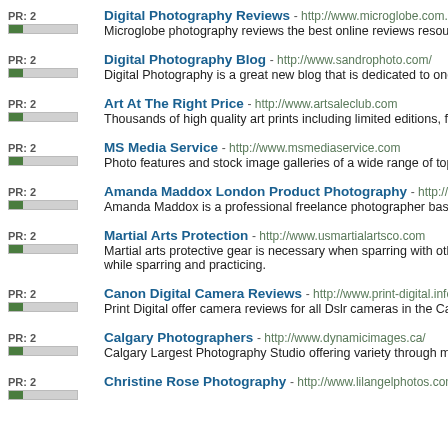Digital Photography Reviews - http://www.microglobe.com.pk
Microglobe photography reviews the best online reviews resource on Nikon Cano
Digital Photography Blog - http://www.sandrophoto.com/
Digital Photography is a great new blog that is dedicated to one thing
Art At The Right Price - http://www.artsaleclub.com
Thousands of high quality art prints including limited editions, famous artist and a
MS Media Service - http://www.msmediaservice.com
Photo features and stock image galleries of a wide range of topics from Nepal: Tr
Amanda Maddox London Product Photography - http://www.amanda...
Amanda Maddox is a professional freelance photographer based in London. She
Martial Arts Protection - http://www.usmartialartsco.com
Martial arts protective gear is necessary when sparring with other students of the while sparring and practicing.
Canon Digital Camera Reviews - http://www.print-digital.info/
Print Digital offer camera reviews for all Dslr cameras in the Canon range as well
Calgary Photographers - http://www.dynamicimages.ca/
Calgary Largest Photography Studio offering variety through movie sets, not just
Christine Rose Photography - http://www.lilangelphotos.com